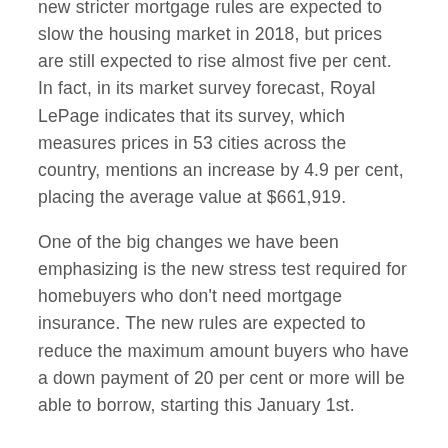new stricter mortgage rules are expected to slow the housing market in 2018, but prices are still expected to rise almost five per cent. In fact, in its market survey forecast, Royal LePage indicates that its survey, which measures prices in 53 cities across the country, mentions an increase by 4.9 per cent, placing the average value at $661,919.
One of the big changes we have been emphasizing is the new stress test required for homebuyers who don't need mortgage insurance. The new rules are expected to reduce the maximum amount buyers who have a down payment of 20 per cent or more will be able to borrow, starting this January 1st.